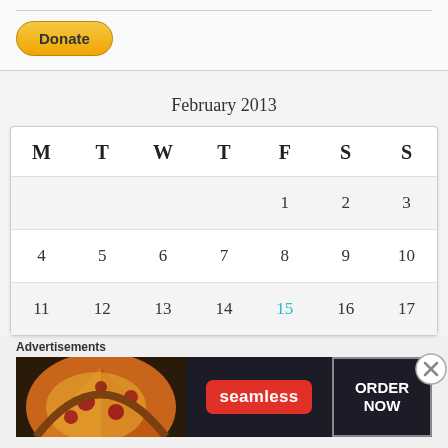[Figure (other): PayPal Donate button]
February 2013
| M | T | W | T | F | S | S |
| --- | --- | --- | --- | --- | --- | --- |
|  |  |  |  | 1 | 2 | 3 |
| 4 | 5 | 6 | 7 | 8 | 9 | 10 |
| 11 | 12 | 13 | 14 | 15 | 16 | 17 |
Advertisements
[Figure (other): Seamless advertisement banner with pizza image and ORDER NOW button]